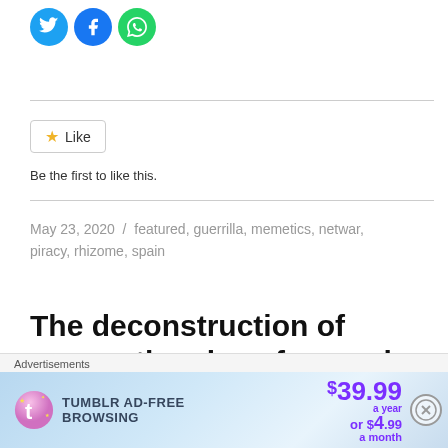[Figure (illustration): Three social sharing icons: Twitter (blue bird), Facebook (blue f), WhatsApp (green phone)]
[Figure (illustration): Like button widget with gold star and text 'Like']
Be the first to like this.
May 23, 2020  /  featured, guerrilla, memetics, netwar, piracy, rhizome, spain
The deconstruction of conventional warfare and cultural banditry
[Figure (advertisement): Tumblr Ad-Free Browsing advertisement. $39.99 a year or $4.99 a month.]